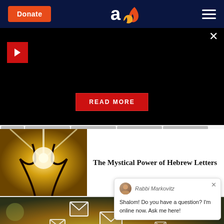Donate | Aish.com logo | Menu
[Figure (screenshot): Black video/promo banner with red play button top-left, close X top-right, and a red READ MORE button centered at bottom]
[Figure (photo): Glowing angelic light rays rising upward against a golden-yellow background]
The Mystical Power of Hebrew Letters
[Figure (photo): Hand holding a smartphone with glowing email envelope icons floating above it in a bokeh background]
[Figure (screenshot): Chat widget showing Rabbi Markovitz avatar with message: Shalom! Do you have a question? I'm online now. Ask me here!]